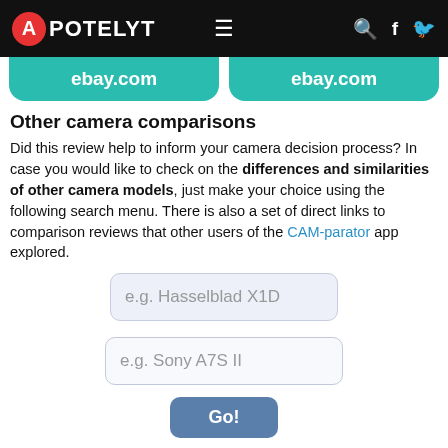APOTELYT | ebay.com | ebay.com
Other camera comparisons
Did this review help to inform your camera decision process? In case you would like to check on the differences and similarities of other camera models, just make your choice using the following search menu. There is also a set of direct links to comparison reviews that other users of the CAM-parator app explored.
e.g. Hasselblad X1D
e.g. Sony A7S II
Go!